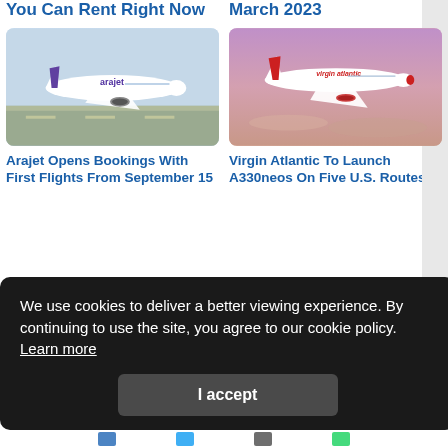You Can Rent Right Now
March 2023
[Figure (photo): Arajet airline aircraft on runway, white plane with purple logo]
[Figure (photo): Virgin Atlantic A330neo aircraft in flight against pink/purple sky]
Arajet Opens Bookings With First Flights From September 15
Virgin Atlantic To Launch A330neos On Five U.S. Routes
We use cookies to deliver a better viewing experience. By continuing to use the site, you agree to our cookie policy.  Learn more
I accept